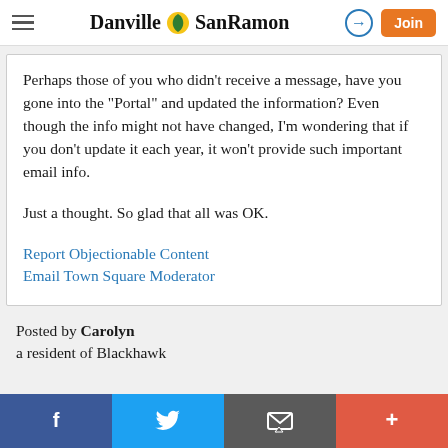Danville SanRamon — navigation bar with hamburger menu, logo, sign-in arrow, and Join button
Perhaps those of you who didn't receive a message, have you gone into the "Portal" and updated the information? Even though the info might not have changed, I'm wondering that if you don't update it each year, it won't provide such important email info.
Just a thought. So glad that all was OK.
Report Objectionable Content
Email Town Square Moderator
Posted by Carolyn
a resident of Blackhawk
Social share bar: Facebook, Twitter, Email, Plus